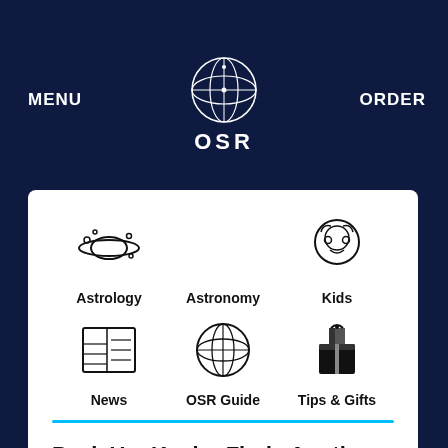MENU
[Figure (logo): OSR globe/sphere logo with latitude/longitude lines, white on dark navy background, with text 'OSR' below]
ORDER
[Figure (infographic): Navigation menu grid with 6 icons: Astrology (planet with rings), Astronomy (empty/implied), Kids (face icon), News (newspaper icon), OSR Guide (globe icon), Tips & Gifts (gift box icon)]
Pack Up, Kepler Finds Another Earth
News   27 Jul 2015